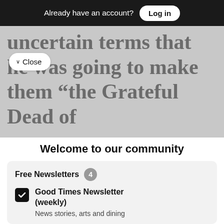Already have an account? Log in
uncertain terms that he was going to make them “the Grateful Dead of
∨  Close
Welcome to our community
Sign in or register for email updates and this box won’t appear again. We’re grateful for your support.
By registering you confirm you are 21+.
Free Newsletters  4
Good Times Newsletter (weekly)
News stories, arts and dining